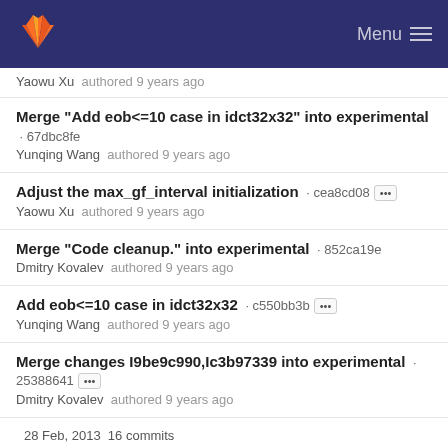GitLab — Menu
Yaowu Xu authored 9 years ago
Merge "Add eob<=10 case in idct32x32" into experimental · 67dbc8fe
Yunqing Wang authored 9 years ago
Adjust the max_gf_interval initialization · cea8cd08 [...]
Yaowu Xu authored 9 years ago
Merge "Code cleanup." into experimental · 852ca19e
Dmitry Kovalev authored 9 years ago
Add eob<=10 case in idct32x32 · c550bb3b [...]
Yunqing Wang authored 9 years ago
Merge changes I9be9c990,Ic3b97339 into experimental · 25388641 [...]
Dmitry Kovalev authored 9 years ago
28 Feb, 2013  16 commits